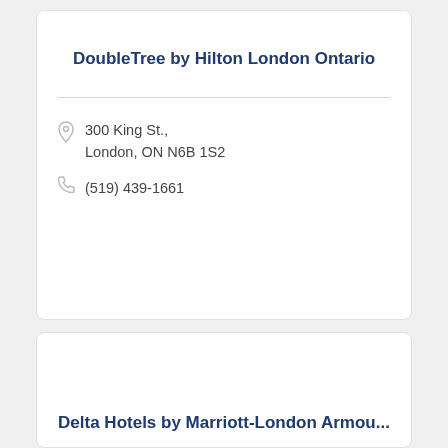DoubleTree by Hilton London Ontario
300 King St., London, ON N6B 1S2
(519) 439-1661
Delta Hotels by Marriott-London Armou...